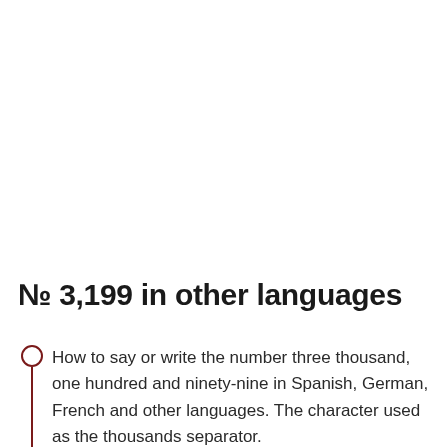№ 3,199 in other languages
How to say or write the number three thousand, one hundred and ninety-nine in Spanish, German, French and other languages. The character used as the thousands separator.